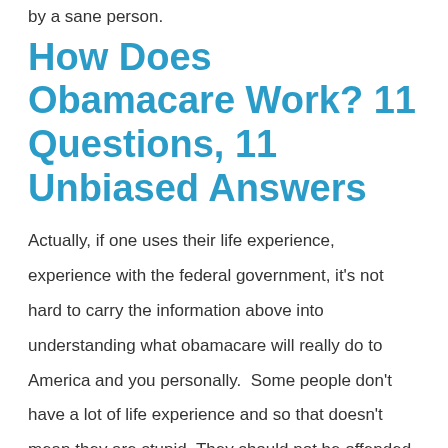by a sane person.
How Does Obamacare Work? 11 Questions, 11 Unbiased Answers
Actually, if one uses their life experience, experience with the federal government, it's not hard to carry the information above into understanding what obamacare will really do to America and you personally.  Some people don't have a lot of life experience and so that doesn't mean they are stupid. They should not be offended by this post. They should however consider the insights given.
As we go on I need a few more "Speaks the ideas Along...